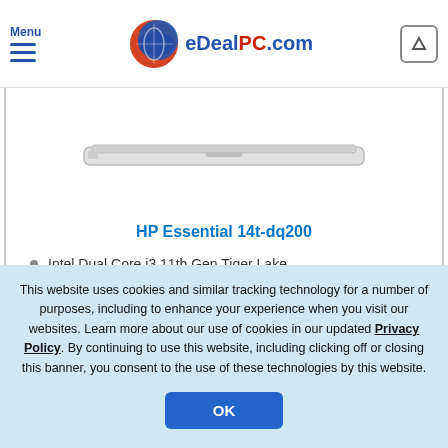Menu | eDealPC.com
[Figure (photo): Laptop computer shown from the side/closed, thin profile, silver/gray color]
HP Essential 14t-dq200
Intel Dual Core i3 11th Gen Tiger Lake
8GB RAM / 256GB SSD
14" HD LCD (1366 x 768)
Windows 11 Home
This website uses cookies and similar tracking technology for a number of purposes, including to enhance your experience when you visit our websites. Learn more about our use of cookies in our updated Privacy Policy. By continuing to use this website, including clicking off or closing this banner, you consent to the use of these technologies by this website.